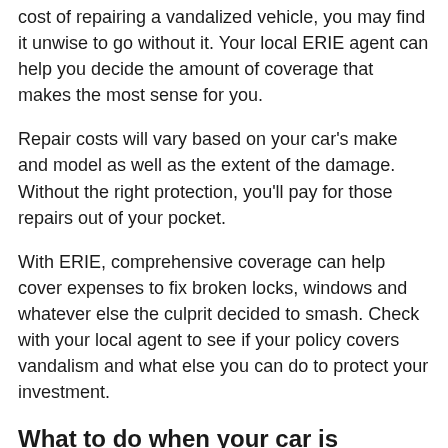cost of repairing a vandalized vehicle, you may find it unwise to go without it. Your local ERIE agent can help you decide the amount of coverage that makes the most sense for you.
Repair costs will vary based on your car's make and model as well as the extent of the damage. Without the right protection, you'll pay for those repairs out of your pocket.
With ERIE, comprehensive coverage can help cover expenses to fix broken locks, windows and whatever else the culprit decided to smash. Check with your local agent to see if your policy covers vandalism and what else you can do to protect your investment.
What to do when your car is vandalized
Garage or no garage, vandals can always find ways to make a mess if they're persistent. When your car is covered in scratches and spray paint, there are steps you